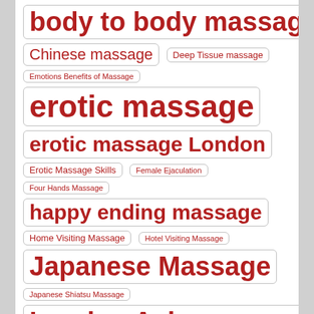[Figure (infographic): Tag cloud of massage-related topics with varying font sizes indicating popularity. Tags include: body to body massage, Chinese massage, Deep Tissue massage, Emotions Benefits of Massage, erotic massage, erotic massage London, Erotic Massage Skills, Female Ejaculation, Four Hands Massage, happy ending massage, Home Visiting Massage, Hotel Visiting Massage, Japanese Massage, Japanese Shiatsu Massage, London Asian massage, London erotic massage, London Massage Ads, London Massage Parlour, London nude massage, London oriental massage, Massage Ads, Massage Emotional Release, Massage Service, Nuru massage, Nuru Oil, oriental massage, outcall massage, Prostate massage, relaxing massage]